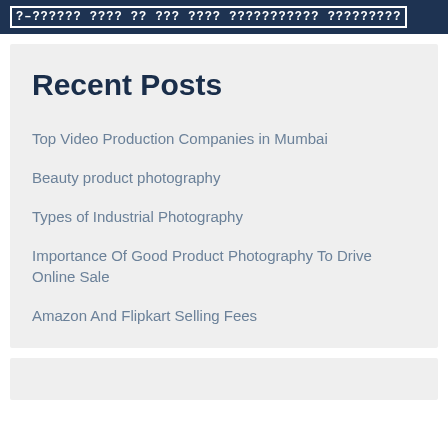?–?????? ???? ?? ??? ???? ??????????? ?????????
Recent Posts
Top Video Production Companies in Mumbai
Beauty product photography
Types of Industrial Photography
Importance Of Good Product Photography To Drive Online Sale
Amazon And Flipkart Selling Fees